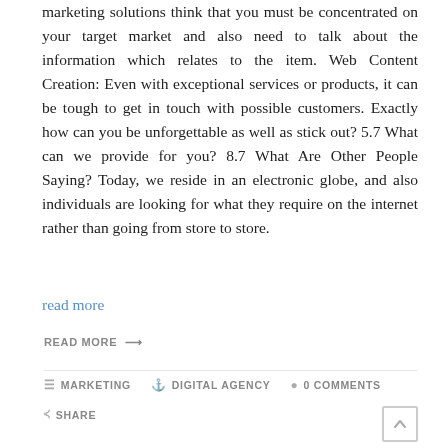marketing solutions think that you must be concentrated on your target market and also need to talk about the information which relates to the item. Web Content Creation: Even with exceptional services or products, it can be tough to get in touch with possible customers. Exactly how can you be unforgettable as well as stick out? 5.7 What can we provide for you? 8.7 What Are Other People Saying? Today, we reside in an electronic globe, and also individuals are looking for what they require on the internet rather than going from store to store.
read more
READ MORE →
MARKETING   DIGITAL AGENCY   0 COMMENTS
SHARE